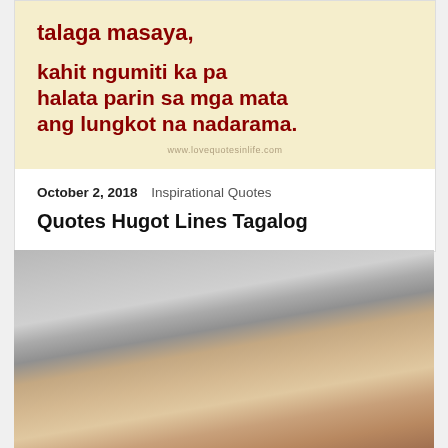[Figure (illustration): Inspirational quote image with cream/yellow background. Text in dark red bold font reads: 'talaga masaya, kahit ngumiti ka pa halata parin sa mga mata ang lungkot na nadarama.' Watermark: www.lovequotesinlife.com]
October 2, 2018   Inspirational Quotes
Quotes Hugot Lines Tagalog
[Figure (photo): Close-up photo showing fabric (gray cloth/shirt) resting on skin (human body part), with skin visible in lower portion.]